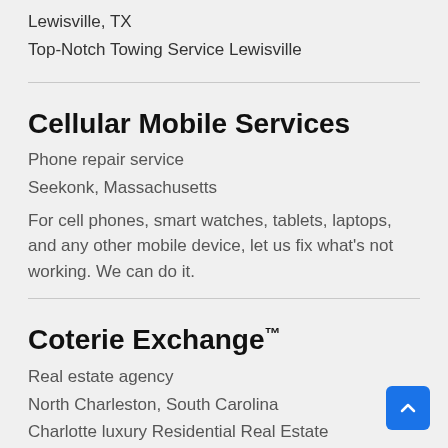Lewisville, TX
Top-Notch Towing Service Lewisville
Cellular Mobile Services
Phone repair service
Seekonk, Massachusetts
For cell phones, smart watches, tablets, laptops, and any other mobile device, let us fix what’s not working. We can do it.
Coterie Exchange™
Real estate agency
North Charleston, South Carolina
Charlotte luxury Residential Real Estate